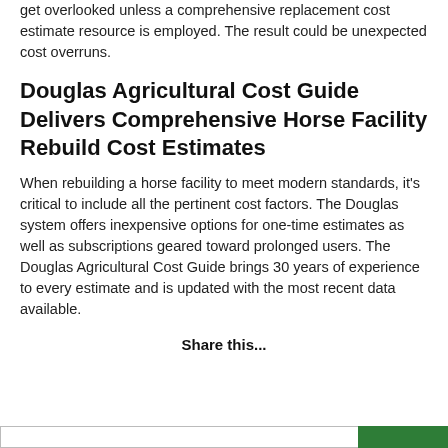get overlooked unless a comprehensive replacement cost estimate resource is employed. The result could be unexpected cost overruns.
Douglas Agricultural Cost Guide Delivers Comprehensive Horse Facility Rebuild Cost Estimates
When rebuilding a horse facility to meet modern standards, it's critical to include all the pertinent cost factors. The Douglas system offers inexpensive options for one-time estimates as well as subscriptions geared toward prolonged users. The Douglas Agricultural Cost Guide brings 30 years of experience to every estimate and is updated with the most recent data available.
Share this...